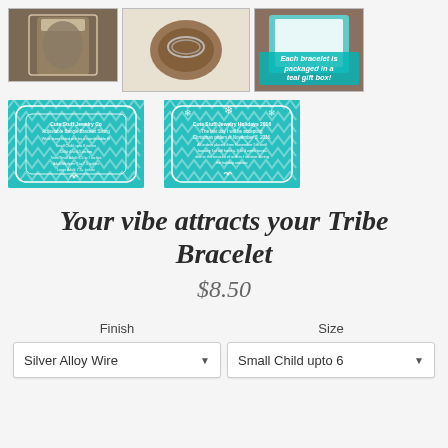[Figure (photo): Three product thumbnail images in top row: bracelet in mason jar, bracelet on wood slice, bracelet in teal gift box with overlay text 'Each bracelet is packaged in a teal gift box!']
[Figure (photo): Two teal chevron-pattern cards with white text: left card shows bracelet sizing info, right card shows holiday ordering info with snowflakes]
Your vibe attracts your Tribe Bracelet
$8.50
Finish
Size
Silver Alloy Wire
Small Child upto 6